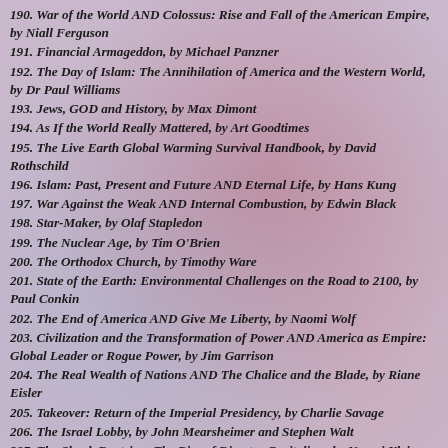190. War of the World AND Colossus: Rise and Fall of the American Empire, by Niall Ferguson
191. Financial Armageddon, by Michael Panzner
192. The Day of Islam: The Annihilation of America and the Western World, by Dr Paul Williams
193. Jews, GOD and History, by Max Dimont
194. As If the World Really Mattered, by Art Goodtimes
195. The Live Earth Global Warming Survival Handbook, by David Rothschild
196. Islam: Past, Present and Future AND Eternal Life, by Hans Kung
197. War Against the Weak AND Internal Combustion, by Edwin Black
198. Star-Maker, by Olaf Stapledon
199. The Nuclear Age, by Tim O'Brien
200. The Orthodox Church, by Timothy Ware
201. State of the Earth: Environmental Challenges on the Road to 2100, by Paul Conkin
202. The End of America AND Give Me Liberty, by Naomi Wolf
203. Civilization and the Transformation of Power AND America as Empire: Global Leader or Rogue Power, by Jim Garrison
204. The Real Wealth of Nations AND The Chalice and the Blade, by Riane Eisler
205. Takeover: Return of the Imperial Presidency, by Charlie Savage
206. The Israel Lobby, by John Mearsheimer and Stephen Walt
207. The Shock Doctrine: The Rise of Disaster Capitalism, by Naomi Klein
208. Cosmos and the Psyche, by Richard Tarnas
209. The Meaning of the 21st Century, James Martin
210. 2012: The War for Souls, by Whitley Strieber
211. Life on a Crowded Planet; Problems and Possibilities, by John Uhl, M.D.
212. Ecocities; Building Cities in Balance with Nature, by Richard Register